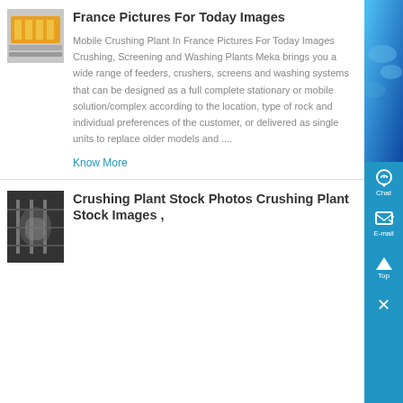France Pictures For Today Images
[Figure (photo): Industrial orange conveyor or crusher equipment]
Mobile Crushing Plant In France Pictures For Today Images Crushing, Screening and Washing Plants Meka brings you a wide range of feeders, crushers, screens and washing systems that can be designed as a full complete stationary or mobile solution/complex according to the location, type of rock and individual preferences of the customer, or delivered as single units to replace older models and ....
Know More
Crushing Plant Stock Photos Crushing Plant Stock Images ,
[Figure (photo): Dark industrial interior of a crushing plant]
[Figure (screenshot): Blue sidebar with Chat, E-mail, Top, and close buttons]